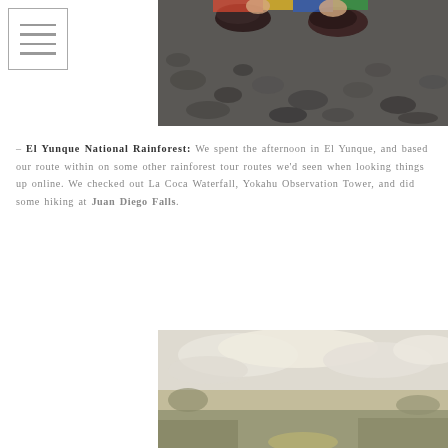[Figure (photo): Overhead view of person's feet in dark shoes with colorful clothing, standing on grey gravel/rocky ground]
– El Yunque National Rainforest: We spent the afternoon in El Yunque, and based our route within on some other rainforest tour routes we'd seen when looking things up online. We checked out La Coca Waterfall, Yokahu Observation Tower, and did some hiking at Juan Diego Falls.
[Figure (photo): Outdoor scenic photo with pale sky and landscape, likely taken in Puerto Rico near El Yunque or similar natural area]